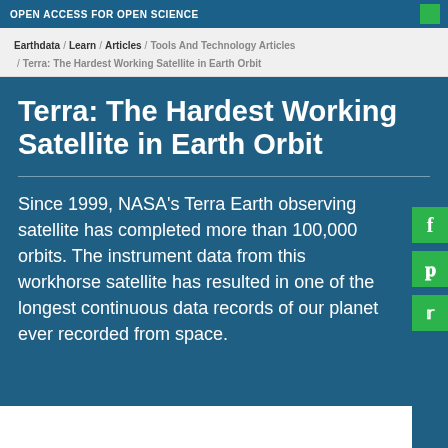OPEN ACCESS FOR OPEN SCIENCE
Earthdata / Learn / Articles / Tools And Technology Articles / Terra: The Hardest Working Satellite in Earth Orbit
Terra: The Hardest Working Satellite in Earth Orbit
Since 1999, NASA's Terra Earth observing satellite has completed more than 100,000 orbits. The instrument data from this workhorse satellite has resulted in one of the longest continuous data records of our planet ever recorded from space.